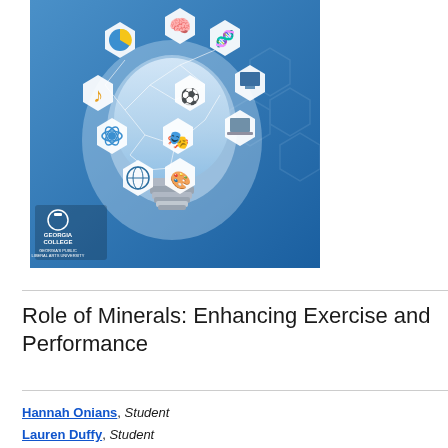[Figure (illustration): A glowing light bulb illustration with hexagonal icons representing various academic disciplines (science, music, drama, computing, biology, globe, arts) floating above it, set against a blue background. Georgia College logo and 'Georgia's Public Liberal Arts University' text appear in the lower left.]
Role of Minerals: Enhancing Exercise and Performance
Hannah Onians, Student
Lauren Duffy, Student